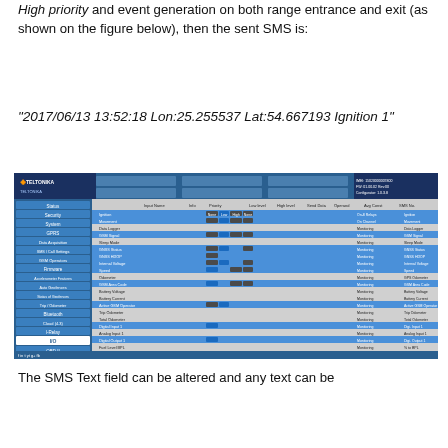High priority and event generation on both range entrance and exit (as shown on the figure below), then the sent SMS is:
"2017/06/13 13:52:18 Lon:25.255537 Lat:54.667193 Ignition 1"
[Figure (screenshot): Screenshot of Teltonika device configuration software showing the I/O settings table with various parameters including Ignition, Movement, Data Logger, GSM Signal, GNSS HDOP, Internal Voltage, Speed, Odometer, GSM Area Code, Battery Voltage, Battery Current, Active GSM Operator, Trip Odometer, Total Odometer, Digital Input 1, Analog Input 1, Digital Output 1, Fuel Level BPL, Fuel Auto BPL, Axis X, Axis Y, Axis Z, DOUT1, Digital Input 2, Dallas Temperature 1, Dallas Temperature 2. The left panel shows navigation menu items including Status, Security, System, GPRS, Data Acquisition, SMS/Call Settings, GSM Operators, Firmware, Accelerometer Features, Auto Geofences, Status of Geofences, Trip/Odometer, Bluetooth, Cloud (4.3), I-Relay, I/O, OBD II, CAN Adapter, RS232/RS485.]
The SMS Text field can be altered and any text can be